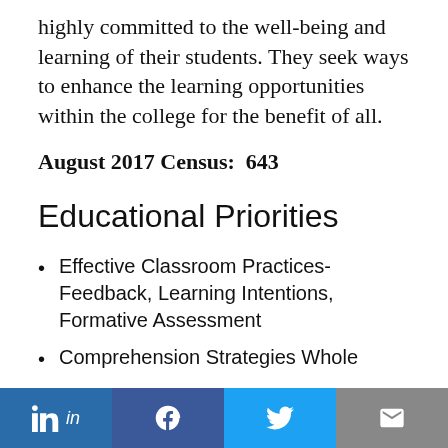highly committed to the well-being and learning of their students. They seek ways to enhance the learning opportunities within the college for the benefit of all.
August 2017 Census:  643
Educational Priorities
Effective Classroom Practices- Feedback, Learning Intentions, Formative Assessment
Comprehension Strategies Whole